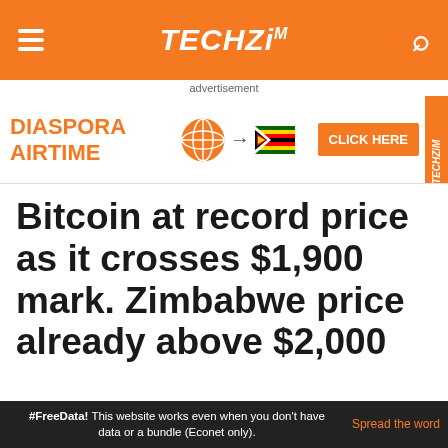TECHZiM
advertisement
[Figure (illustration): Diaspora Airtime advertisement banner with globe icon, arrow, Zimbabwe flag, CLICK HERE button and Techzim logo]
Bitcoin at record price as it crosses $1,900 mark. Zimbabwe price already above $2,000
Posted on May 19, 2017 by
#FreeData! This website works even when you don't have data or a bundle (Econet only). Spread the word